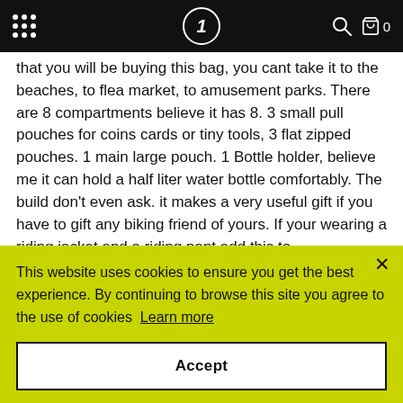Navigation bar with menu dots, logo (stylized 1 in circle), search icon, and cart (0 items)
that you will be buying this bag, you cant take it to the beaches, to flea market, to amusement parks. There are 8 compartments believe it has 8. 3 small pull pouches for coins cards or tiny tools, 3 flat zipped pouches. 1 main large pouch. 1 Bottle holder, believe me it can hold a half liter water bottle comfortably. The build don't even ask. it makes a very useful gift if you have to gift any biking friend of yours. If your wearing a riding jacket and a riding pant add this to
This website uses cookies to ensure you get the best experience. By continuing to browse this site you agree to the use of cookies  Learn more
Accept